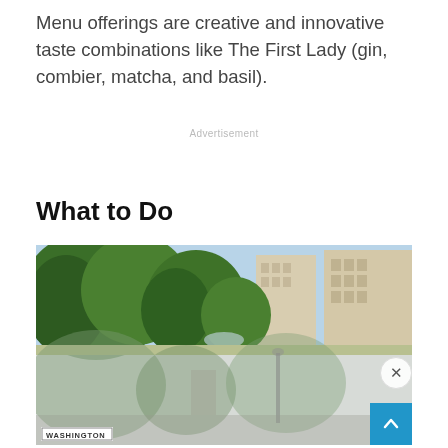Menu offerings are creative and innovative taste combinations like The First Lady (gin, combier, matcha, and basil).
Advertisement
What to Do
[Figure (photo): Outdoor urban park scene with lush green trees in the foreground and tall buildings in the background. A partially overlaid translucent grey ad overlay covers the lower portion, with a Washington Square Park sign visible at bottom left. A close button (×) appears top right of the overlay, and a blue scroll-to-top button with an upward arrow is in the bottom right corner.]